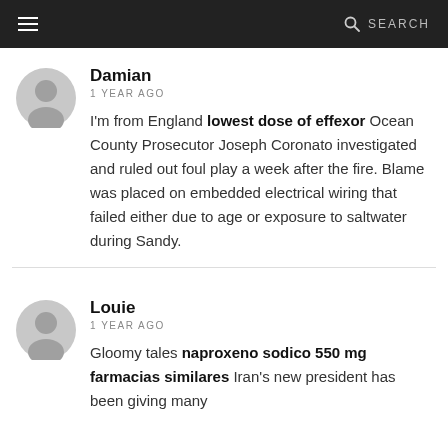SEARCH
Damian
1 YEAR AGO
I'm from England lowest dose of effexor Ocean County Prosecutor Joseph Coronato investigated and ruled out foul play a week after the fire. Blame was placed on embedded electrical wiring that failed either due to age or exposure to saltwater during Sandy.
Louie
1 YEAR AGO
Gloomy tales naproxeno sodico 550 mg farmacias similares Iran's new president has been giving many